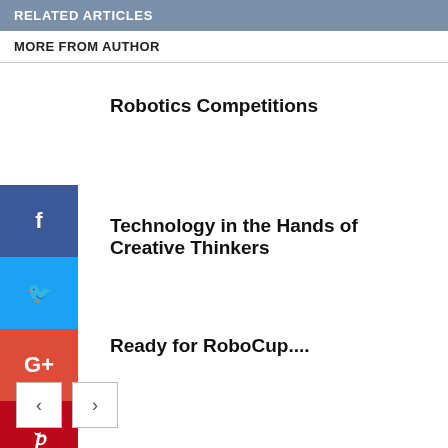RELATED ARTICLES
MORE FROM AUTHOR
Robotics Competitions
Technology in the Hands of Creative Thinkers
Ready for RoboCup....